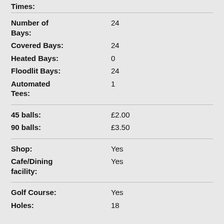Times:
Number of Bays: 24
Covered Bays: 24
Heated Bays: 0
Floodlit Bays: 24
Automated Tees: 1
45 balls: £2.00
90 balls: £3.50
Shop: Yes
Cafe/Dining facility: Yes
Golf Course: Yes
Holes: 18